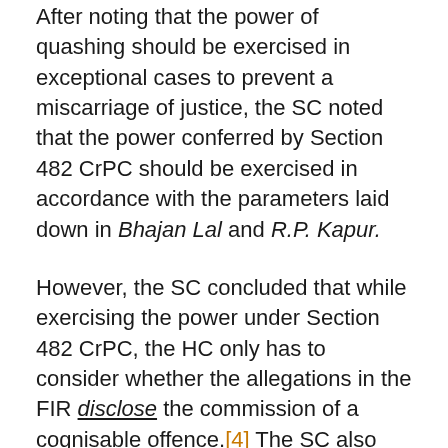After noting that the power of quashing should be exercised in exceptional cases to prevent a miscarriage of justice, the SC noted that the power conferred by Section 482 CrPC should be exercised in accordance with the parameters laid down in Bhajan Lal and R.P. Kapur.
However, the SC concluded that while exercising the power under Section 482 CrPC, the HC only has to consider whether the allegations in the FIR disclose the commission of a cognisable offence.[4] The SC also concluded that the HC is not required to consider on merits whether the allegations make out a cognisable offence, and the police/investigating agency should be permitted to investigate the allegations in the FIR.
This suggests that the HC should not even undertake a prima facie evaluation of whether the allegations made...